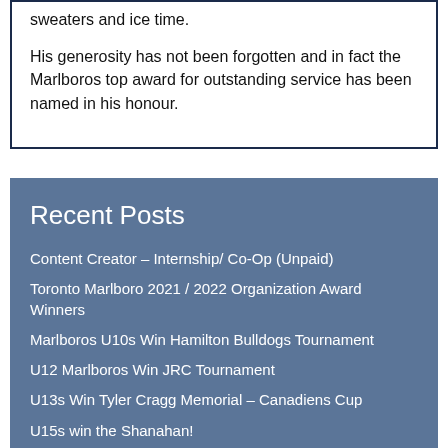sweaters and ice time.
His generosity has not been forgotten and in fact the Marlboros top award for outstanding service has been named in his honour.
Recent Posts
Content Creator – Internship/ Co-Op (Unpaid)
Toronto Marlboro 2021 / 2022 Organization Award Winners
Marlboros U10s Win Hamilton Bulldogs Tournament
U12 Marlboros Win JRC Tournament
U13s Win Tyler Cragg Memorial – Canadiens Cup
U15s win the Shanahan!
Remembrance Day – Lest We Forget
The U12s Go Undefeated in Barrie!